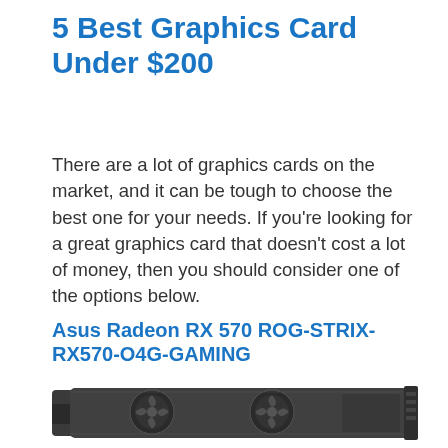5 Best Graphics Card Under $200
There are a lot of graphics cards on the market, and it can be tough to choose the best one for your needs. If you're looking for a great graphics card that doesn't cost a lot of money, then you should consider one of the options below.
Asus Radeon RX 570 ROG-STRIX-RX570-O4G-GAMING
[Figure (photo): Photo of the Asus Radeon RX 570 ROG-STRIX graphics card, showing the top/side view of a dark grey GPU with large fans and shroud.]